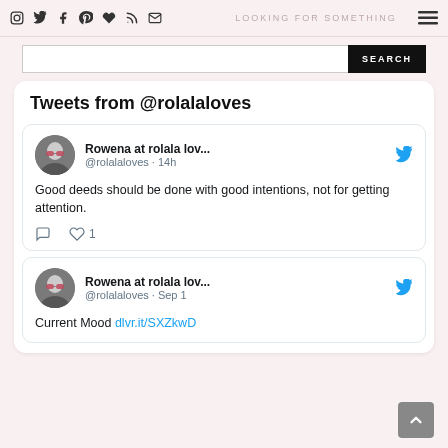Social icons nav bar with Instagram, Twitter, Facebook, Pinterest, Heart, RSS, Mail icons and hamburger menu
[Figure (screenshot): Search bar with SEARCH button]
Tweets from @rolalaloves
Rowena at rolala lov... @rolalaloves · 14h
Good deeds should be done with good intentions, not for getting attention.
Rowena at rolala lov... @rolalaloves · Sep 1
Current Mood dlvr.it/SXZkwD